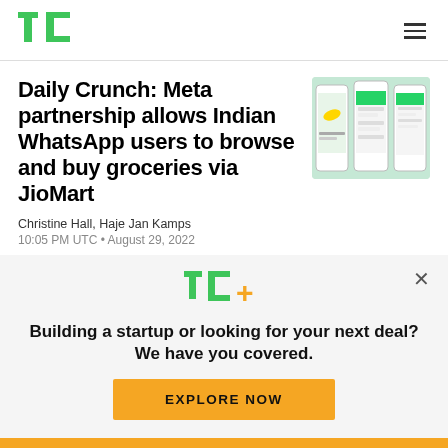TechCrunch logo and navigation menu
Daily Crunch: Meta partnership allows Indian WhatsApp users to browse and buy groceries via JioMart
[Figure (photo): Three smartphones showing WhatsApp and grocery shopping interface with JioMart]
Christine Hall, Haje Jan Kamps
10:05 PM UTC • August 29, 2022
[Figure (logo): TC+ logo in green with plus sign in yellow]
Building a startup or looking for your next deal? We have you covered.
EXPLORE NOW